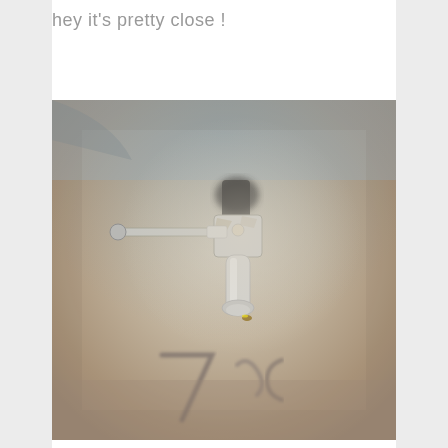hey it's pretty close !
[Figure (photo): Close-up photograph of an old, weathered outdoor water faucet/tap mounted on a worn, textured wall. The faucet has a T-shaped handle and shows chipped paint and rust. The background wall has graffiti marks. The image has a vintage, slightly desaturated warm tone.]